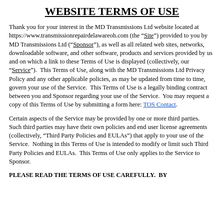WEBSITE TERMS OF USE
Thank you for your interest in the MD Transmissions Ltd website located at https://www.transmissionrepairdelawareoh.com (the “Site”) provided to you by MD Transmissions Ltd (“Sponsor”), as well as all related web sites, networks, downloadable software, and other software, products and services provided by us and on which a link to these Terms of Use is displayed (collectively, our “Service”).  This Terms of Use, along with the MD Transmissions Ltd Privacy Policy and any other applicable policies, as may be updated from time to time, govern your use of the Service.  This Terms of Use is a legally binding contract between you and Sponsor regarding your use of the Service.  You may request a copy of this Terms of Use by submitting a form here: TOS Contact.
Certain aspects of the Service may be provided by one or more third parties.  Such third parties may have their own policies and end user license agreements (collectively, “Third Party Policies and EULAs”) that apply to your use of the Service.  Nothing in this Terms of Use is intended to modify or limit such Third Party Policies and EULAs.  This Terms of Use only applies to the Service to Sponsor.
PLEASE READ THE TERMS OF USE CAREFULLY.  BY